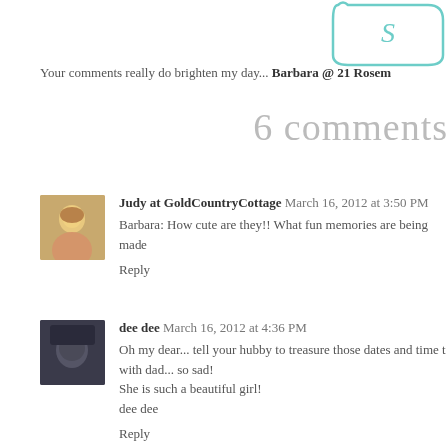[Figure (illustration): Teal decorative frame/badge in top right corner, partially visible]
Your comments really do brighten my day... Barbara @ 21 Rosem
6 comments
Judy at GoldCountryCottage March 16, 2012 at 3:50 PM
Barbara: How cute are they!! What fun memories are being ma...
Reply
dee dee March 16, 2012 at 4:36 PM
Oh my dear... tell your hubby to treasure those dates and time t...
with dad... so sad!
She is such a beautiful girl!
dee dee
Reply